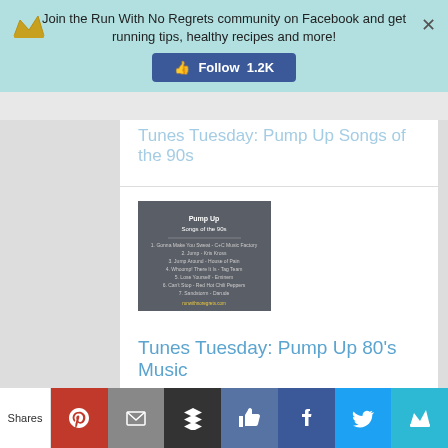Join the Run With No Regrets community on Facebook and get running tips, healthy recipes and more! Follow 1.2K
Tunes Tuesday: Pump Up Songs of the 90s
[Figure (photo): Dark gray thumbnail image with white text listing pump up songs of the 90s]
Tunes Tuesday: Pump Up 80's Music
[Figure (photo): Light blue thumbnail image with text about 40 tested songs]
Shares | Pinterest | Email | Buffer | Like | Facebook | Twitter | Crown